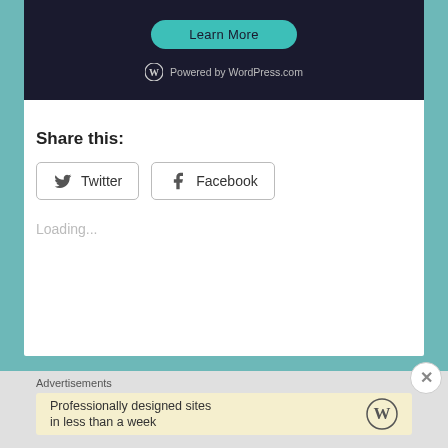[Figure (screenshot): Dark navy advertisement banner with a teal 'Learn More' rounded button and 'Powered by WordPress.com' text with WordPress logo at bottom]
REPORT THIS AD
Share this:
Twitter
Facebook
Loading...
Advertisements
Professionally designed sites in less than a week